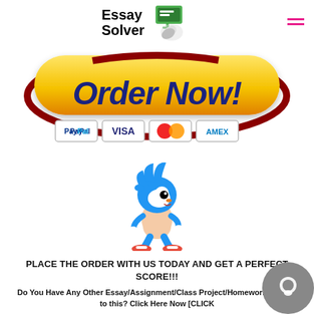[Figure (logo): Essay Solver logo with chat icon and phone graphic]
[Figure (illustration): Yellow 'Order Now!' button with dark red orbit ring, PayPal, VISA, Mastercard, and AMEX payment badges below]
[Figure (illustration): Sonic the Hedgehog cartoon character illustration]
PLACE THE ORDER WITH US TODAY AND GET A PERFECT SCORE!!!
Do You Have Any Other Essay/Assignment/Class Project/Homework Related to this? Click Here Now [CLICK